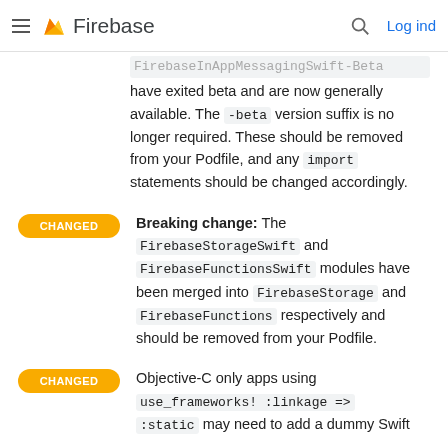Firebase  Log ind
FirebaseInAppMessagingSwift-Beta have exited beta and are now generally available. The -beta version suffix is no longer required. These should be removed from your Podfile, and any import statements should be changed accordingly.
CHANGED — Breaking change: The FirebaseStorageSwift and FirebaseFunctionsSwift modules have been merged into FirebaseStorage and FirebaseFunctions respectively and should be removed from your Podfile.
CHANGED — Objective-C only apps using use_frameworks! :linkage => :static may need to add a dummy Swift